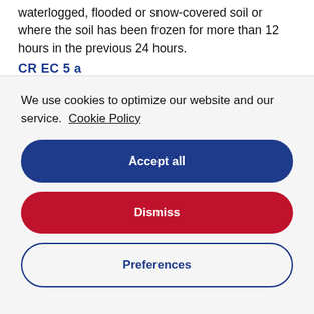waterlogged, flooded or snow-covered soil or where the soil has been frozen for more than 12 hours in the previous 24 hours.
CR EC 5 a
We use cookies to optimize our website and our service.  Cookie Policy
Accept all
Dismiss
Preferences